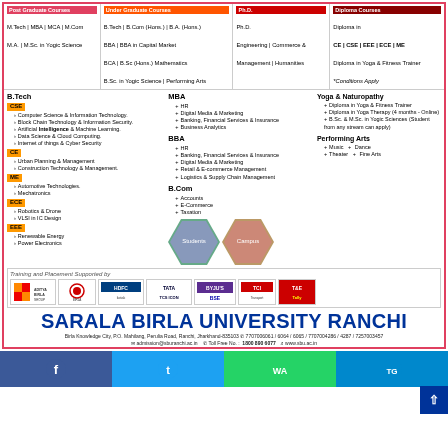| Post Graduate Courses | Under Graduate Courses | Ph.D. | Diploma Courses |
| --- | --- | --- | --- |
| M.Tech | MBA | MCA | M.Com
M.A. | M.Sc. in Yogic Science | B.Tech | B.Com (Hons.) | B.A. (Hons.)
BBA | BBA in Capital Market
BCA | B.Sc (Hons.) Mathematics
B.Sc. in Yogic Science | Performing Arts | Ph.D.
Engineering | Commerce &
Management | Humanities | Diploma in
CE | CSE | EEE | ECE | ME
Diploma in Yoga & Fitness Trainer
*Conditions Apply |
B.Tech
CSE
Computer Science & Information Technology.
Block Chain Technology & Information Security.
Artificial Intelligence & Machine Learning.
Data Science & Cloud Computing.
Internet of things & Cyber Security
CE
Urban Planning & Management
Construction Technology & Management.
ME
Automotive Technologies.
Mechatronics
ECE
Robotics & Drone
VLSI in IC Design
EEE
Renewable Energy
Power Electronics
MBA
HR
Digital Media & Marketing
Banking, Financial Services & Insurance
Business Analytics
BBA
HR
Banking, Financial Services & Insurance
Digital Media & Marketing
Retail & E-commerce Management
Logistics & Supply Chain Management
B.Com
Accounts
E-Commerce
Taxation
Yoga & Naturopathy
Diploma in Yoga & Fitness Trainer
Diploma in Yoga Therapy (4 months - Online)
B.Sc. & M.Sc. in Yogic Sciences (Student from any stream can apply)
Performing Arts
Music • Dance
Theater • Fine Arts
[Figure (photo): Two hexagonal images showing university campus and students]
Training and Placement Supported by
[Figure (logo): Company logos: Aditya Birla Group, Birla Group of Companies, HDFC Mutual Fund / Kotak, Tata TCS ICON, BYJU's BSE, TCI, T&E/Tally]
SARALA BIRLA UNIVERSITY RANCHI
Birla Knowledge City, P.O. Mahilang, Perulia Road, Ranchi, Jharkhand-835103 ☎ 7707006061 / 6064 / 6065 / 7707004286 / 4287 / 7257003457
✉ admission@sburanchi.ac.in  ☎ Toll Free No. : 1800 890 6077  🌐 www.sbu.ac.in
[Figure (infographic): Social media share buttons: Facebook, Twitter, WhatsApp, Telegram]